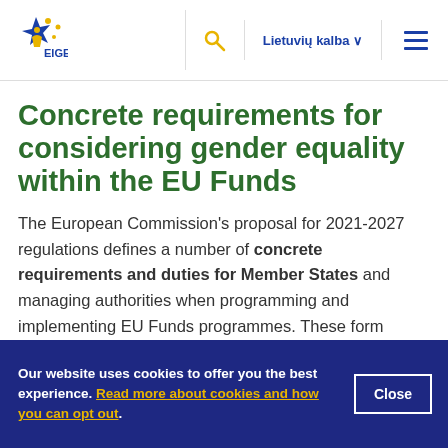[Figure (logo): EIGE logo - blue and yellow star with figure, text EIGE]
Concrete requirements for considering gender equality within the EU Funds
The European Commission's proposal for 2021-2027 regulations defines a number of concrete requirements and duties for Member States and managing authorities when programming and implementing EU Funds programmes. These form
Our website uses cookies to offer you the best experience. Read more about cookies and how you can opt out.